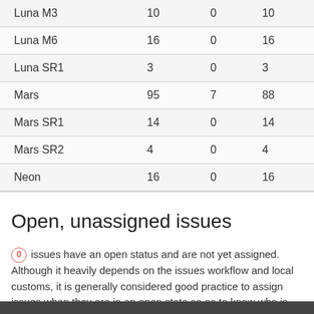| Luna M3 | 10 | 0 | 10 |
| Luna M6 | 16 | 0 | 16 |
| Luna SR1 | 3 | 0 | 3 |
| Mars | 95 | 7 | 88 |
| Mars SR1 | 14 | 0 | 14 |
| Mars SR2 | 4 | 0 | 4 |
| Neon | 16 | 0 | 16 |
Open, unassigned issues
0 issues have an open status and are not yet assigned. Although it heavily depends on the issues workflow and local customs, it is generally considered good practice to assign issues when they are in an open state so as to know who is responsible for the action. Display is limited to 10 issues for readability.